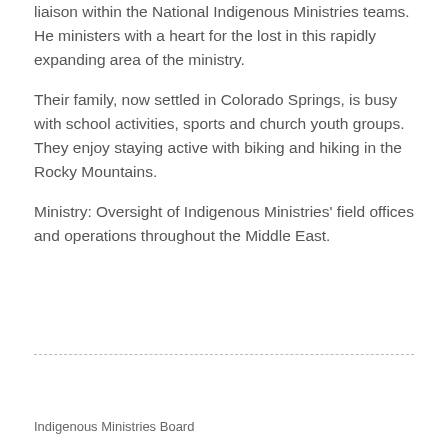liaison within the National Indigenous Ministries teams.  He ministers with a heart for the lost in this rapidly expanding area of the ministry.
Their family, now settled in Colorado Springs, is busy with school activities, sports and church youth groups.  They enjoy staying active with biking and hiking in the Rocky Mountains.
Ministry:  Oversight of Indigenous Ministries' field offices and operations throughout the Middle East.
Indigenous Ministries Board